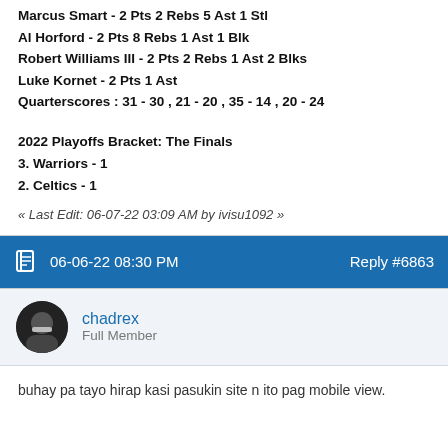Marcus Smart - 2 Pts 2 Rebs 5 Ast 1 Stl
Al Horford - 2 Pts 8 Rebs 1 Ast 1 Blk
Robert Williams III - 2 Pts 2 Rebs 1 Ast 2 Blks
Luke Kornet - 2 Pts 1 Ast
Quarterscores : 31 - 30 , 21 - 20 , 35 - 14 , 20 - 24
2022 Playoffs Bracket: The Finals
3. Warriors - 1
2. Celtics - 1
« Last Edit: 06-07-22 03:09 AM by ivisu1092 »
06-06-22 08:30 PM   Reply #6863
chadrex
Full Member
buhay pa tayo hirap kasi pasukin site n ito pag mobile view.
06-08-22 12:21 PM   Reply #6864